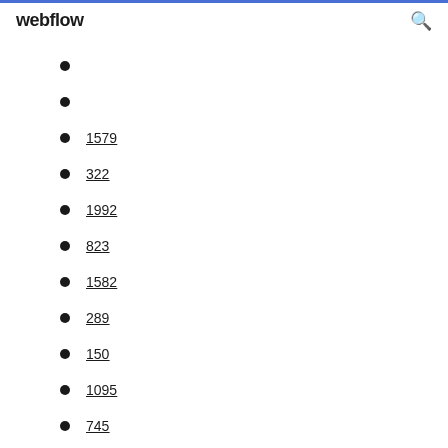webflow
1579
322
1992
823
1582
289
150
1095
745
1662